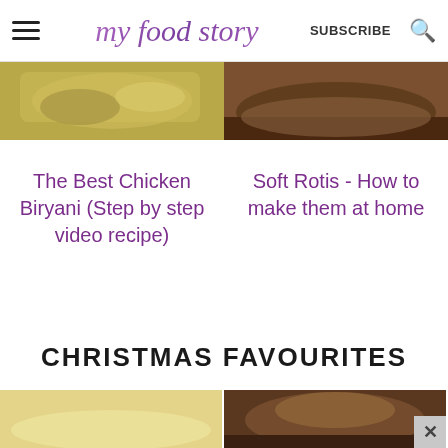my food story | SUBSCRIBE
[Figure (photo): Cropped food photo on left - appears to be biryani dish]
[Figure (photo): Cropped food photo on right - appears to be rotis]
The Best Chicken Biryani (Step by step video recipe)
Soft Rotis - How to make them at home
CHRISTMAS FAVOURITES
[Figure (photo): Bottom left Christmas food photo]
[Figure (photo): Bottom right Christmas food photo]